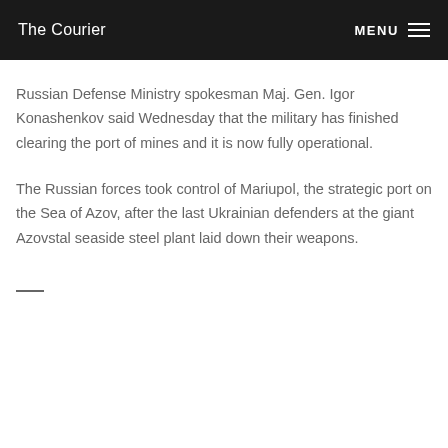The Courier
Russian Defense Ministry spokesman Maj. Gen. Igor Konashenkov said Wednesday that the military has finished clearing the port of mines and it is now fully operational.
The Russian forces took control of Mariupol, the strategic port on the Sea of Azov, after the last Ukrainian defenders at the giant Azovstal seaside steel plant laid down their weapons.